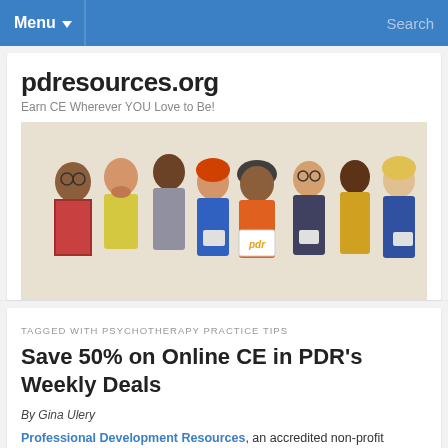Menu ▼   Search
pdresources.org
Earn CE Wherever YOU Love to Be!
[Figure (photo): Group of diverse professionals holding tablets and a sign with PDR logo, with two 'pdr' text logos in top corners and one in the center bottom of the image.]
TAGGED WITH PSYCHOTHERAPY PRACTICE TIPS
Save 50% on Online CE in PDR's Weekly Deals
By Gina Ulery
Professional Development Resources, an accredited non-profit